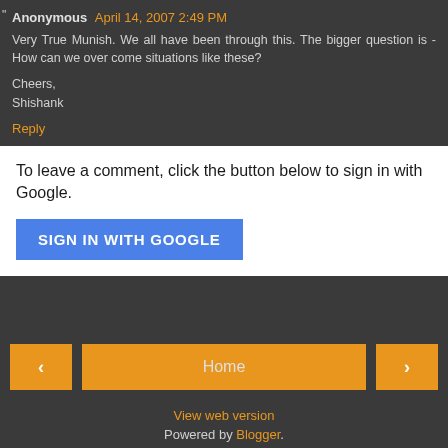Anonymous April 14, 2007 2:49 PM
Very True Munish. We all have been through this. The bigger question is - How can we over come situations like these?

Cheers,
Shishank
Reply
To leave a comment, click the button below to sign in with Google.
SIGN IN WITH GOOGLE
Home
View web version
Powered by Blogger.